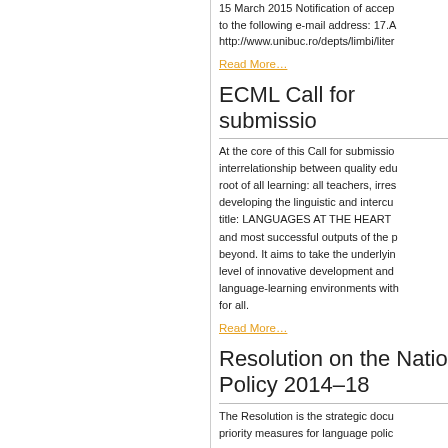15 March 2015 Notification of acceptance sent to the following e-mail address: 17.A… http://www.unibuc.ro/depts/limbi/liter…
Read More…
ECML Call for submissio…
At the core of this Call for submissio… interrelationship between quality edu… root of all learning: all teachers, irres… developing the linguistic and intercu… title: LANGUAGES AT THE HEART… and most successful outputs of the p… beyond. It aims to take the underlyin… level of innovative development and… language-learning environments with… for all.
Read More…
Resolution on the Natio… Policy 2014–18
The Resolution is the strategic docu… priority measures for language polic…
Read More…